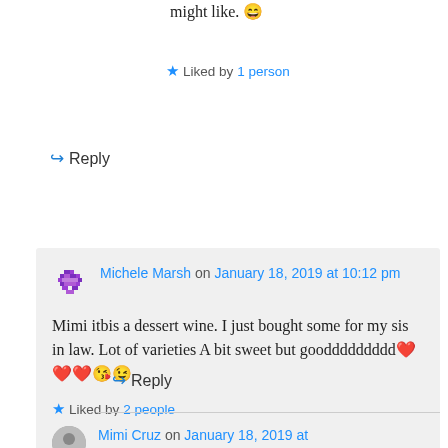might like. 😄
★ Liked by 1 person
↪ Reply
Michele Marsh on January 18, 2019 at 10:12 pm
Mimi itbis a dessert wine. I just bought some for my sis in law. Lot of varieties A bit sweet but gooddddddddd❤️❤️❤️😘😉
★ Liked by 2 people
↪ Reply
Mimi Cruz on January 18, 2019 at